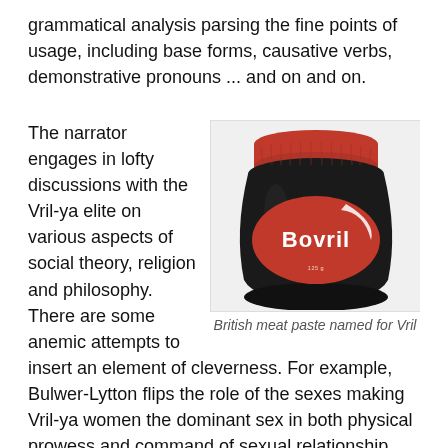grammatical analysis parsing the fine points of usage, including base forms, causative verbs, demonstrative pronouns ... and on and on.
The narrator engages in lofty discussions with the Vril-ya elite on various aspects of social theory, religion and philosophy. There are some anemic attempts to insert an element of cleverness. For example, Bulwer-Lytton flips the role of the sexes making Vril-ya women the dominant sex in both physical prowess and command of sexual relationship issues. But all this is always carefully couched in a context of everyone and every aspect of Vril-ya culture having achieved
[Figure (photo): A jar of Bovril British meat paste with a black jar body, red lid, and red oval label with white Bovril text]
British meat paste named for Vril